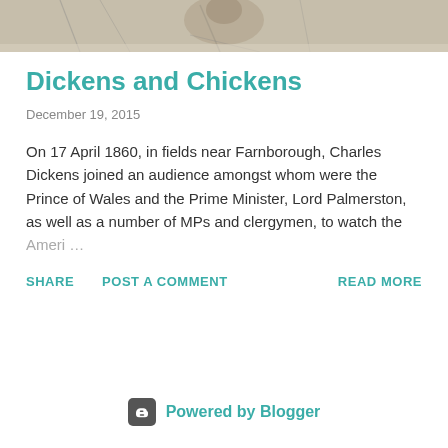[Figure (photo): Black and white sketch/photo image at top of page, showing figures or animals in a field]
Dickens and Chickens
December 19, 2015
On 17 April 1860, in fields near Farnborough, Charles Dickens joined an audience amongst whom were the Prince of Wales and the Prime Minister, Lord Palmerston, as well as a number of MPs and clergymen, to watch the Ameri…
SHARE   POST A COMMENT   READ MORE
Powered by Blogger